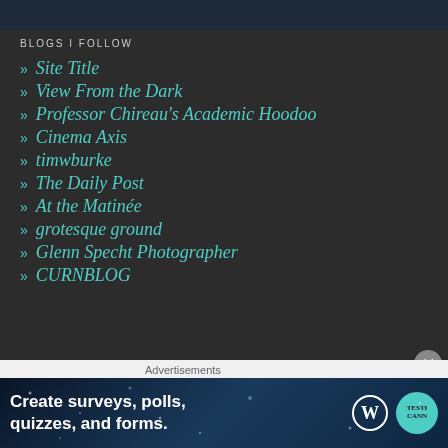[Figure (other): Dark blue top banner/header bar]
BLOGS I FOLLOW
» Site Title
» View From the Dark
» Professor Chireau's Academic Hoodoo
» Cinema Axis
» timwburke
» The Daily Post
» At the Matinée
» grotesque ground
» Glenn Specht Photographer
» CURNBLOG
Advertisements
[Figure (screenshot): Advertisement banner: Create surveys, polls, quizzes, and forms. WordPress and survey tool logos shown.]